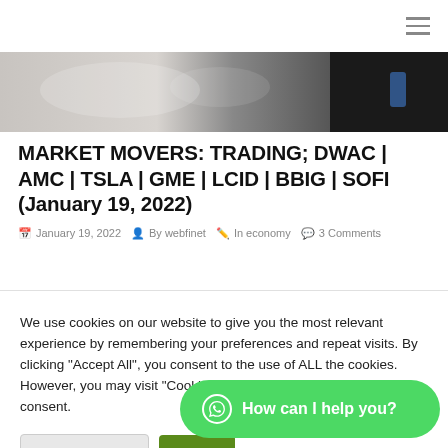Navigation menu
[Figure (photo): Partial hero image showing blurred figures, transitioning to dark background with person in suit]
MARKET MOVERS: TRADING; DWAC | AMC | TSLA | GME | LCID | BBIG | SOFI (January 19, 2022)
January 19, 2022  By webfinet  In economy  3 Comments
We use cookies on our website to give you the most relevant experience by remembering your preferences and repeat visits. By clicking "Accept All", you consent to the use of ALL the cookies. However, you may visit "Cookie Settings" to provide a controlled consent.
Cookie Settings  Accept All  How can I help you?